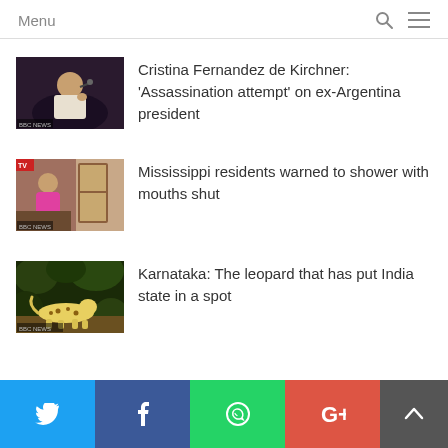Menu
[Figure (photo): Woman speaking at a microphone, BBC News thumbnail for Cristina Fernandez de Kirchner story]
Cristina Fernandez de Kirchner: 'Assassination attempt' on ex-Argentina president
[Figure (photo): Woman in pink dress on TV set, BBC News thumbnail for Mississippi residents story]
Mississippi residents warned to shower with mouths shut
[Figure (photo): Leopard at night in forest, BBC News thumbnail for Karnataka story]
Karnataka: The leopard that has put India state in a spot